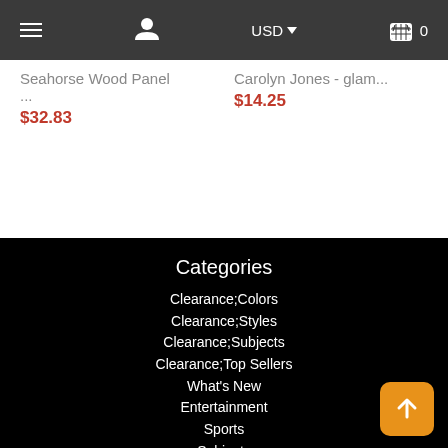Navigation bar with menu, user, USD currency selector, and cart (0 items)
Seahorse Wood Panel ...
$32.83
Carolyn Jones - glam...
$14.25
Categories
Clearance;Colors
Clearance;Styles
Clearance;Subjects
Clearance;Top Sellers
What's New
Entertainment
Sports
Subjects
Styles